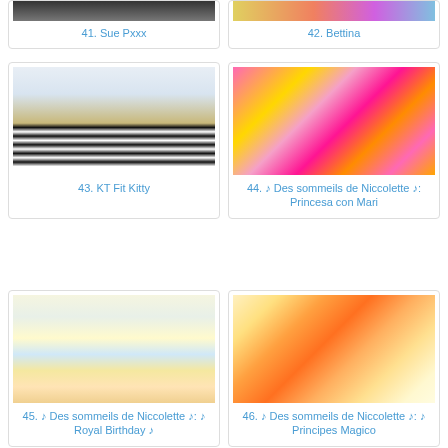[Figure (photo): Partial top image for card 41 Sue Pxxx - dark monochrome craft card]
41. Sue Pxxx
[Figure (photo): Partial top image for card 42 Bettina - colorful craft card]
42. Bettina
[Figure (photo): Craft card with cat and Christmas tree with black and white striped border - KT Fit Kitty]
43. KT Fit Kitty
[Figure (photo): Craft card with princess in pink dress on colorful background - Des sommeils de Niccolette]
44. ♪ Des sommeils de Niccolette ♪: Princesa con Mari
[Figure (photo): Craft card with ballerina in oval frame on pastel striped background - Des sommeils de Niccolette Royal Birthday]
45. ♪ Des sommeils de Niccolette ♪: ♪ Royal Birthday ♪
[Figure (photo): Craft card with orange-haired cute character on floral background - Des sommeils de Niccolette Principes Magico]
46. ♪ Des sommeils de Niccolette ♪: ♪ Principes Magico